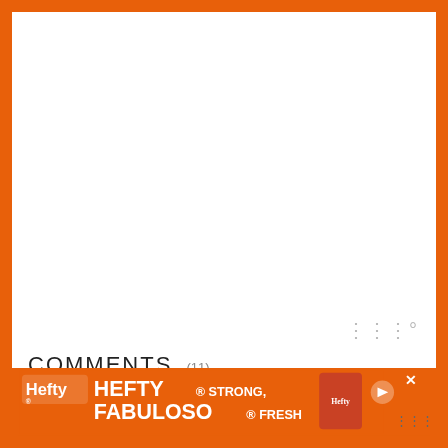[Figure (photo): White empty area representing a food blog image placeholder]
COMMENTS (11)
Heather @ Heather's Dish on January 17, 2013 at 8:48 am said:
This salad sounds dreamy – I really need to get my hands on some grapefruit!
Annalise on January 17, 2013 at 10:38 am said:
Gorgeous salad!
[Figure (infographic): Hefty STRONG, FABULOSO FRESH advertisement banner at bottom]